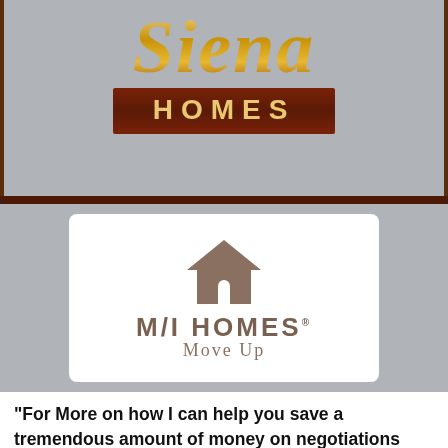[Figure (logo): Siena Homes logo — cursive gold 'Siena' script above a dark brown bar with 'HOMES' in gold capital letters, on a gray background]
[Figure (logo): M/I Homes Move Up logo — brown house icon above bold uppercase 'M/I HOMES' and smallcaps 'Move Up' text, on a white card within gray background]
“For More on how I can help you save a tremendous amount of money on negotiations with the builder on lot cost, additional upgrades, price reduction, mortgage incentives, buy down rates, rebates, please call or text me today at (469)733-2723. The Grand